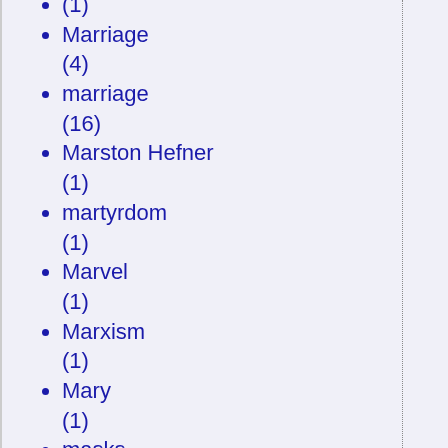(1)
Marriage (4)
marriage (16)
Marston Hefner (1)
martyrdom (1)
Marvel (1)
Marxism (1)
Mary (1)
masks (1)
mass murder (1)
mass shootings (1)
Massachusetts